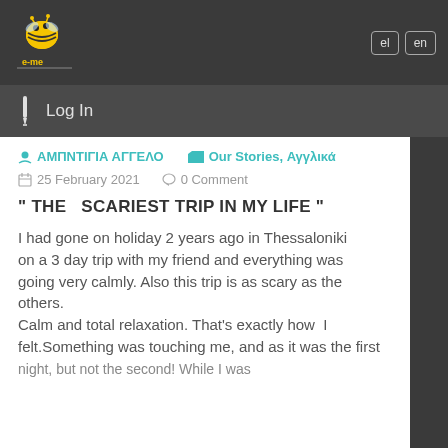[Figure (logo): e-me website logo with bee mascot on dark background]
el  en  Log In
ΑΜΠΝΤΙΓΙΑ ΑΓΓΕΛΟ   Our Stories, Αγγλικά
25 February 2021   0 Comment
" THE  SCARIEST TRIP IN MY LIFE "
I had gone on holiday 2 years ago in Thessaloniki on a 3 day trip with my friend and everything was going very calmly. Also this trip is as scary as the others. Calm and total relaxation. That's exactly how I felt.Something was touching me, and as it was the first night, but not the second! While I was